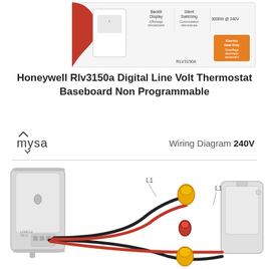[Figure (photo): Product photo of Honeywell RLV3150A Digital Line Volt Thermostat package showing features: Backlit Display, Silent Switching, 3000W @ 240V, Electric Heat Only label, model number RLV3150A]
Honeywell Rlv3150a Digital Line Volt Thermostat Baseboard Non Programmable
[Figure (engineering-diagram): Mysa wiring diagram for 240V showing thermostat device on left connected via black and red wires with wire nuts (yellow connectors) to baseboard heater on right. Labels L1 appear twice indicating line 1 connections. Black wires and red wires are bundled with yellow wire nut connectors.]